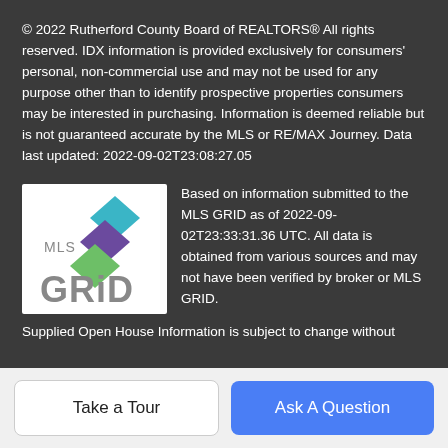© 2022 Rutherford County Board of REALTORS® All rights reserved. IDX information is provided exclusively for consumers' personal, non-commercial use and may not be used for any purpose other than to identify prospective properties consumers may be interested in purchasing. Information is deemed reliable but is not guaranteed accurate by the MLS or RE/MAX Journey. Data last updated: 2022-09-02T23:08:27.05
[Figure (logo): MLS GRID logo with stacked diamond shapes in teal, purple, and green colors on a white background]
Based on information submitted to the MLS GRID as of 2022-09-02T23:33:31.36 UTC. All data is obtained from various sources and may not have been verified by broker or MLS GRID. Supplied Open House Information is subject to change without notice. All information should be independently reviewed and verified for accuracy. Properties may or may not be listed by the office/agent presenting the information. The data relating to real